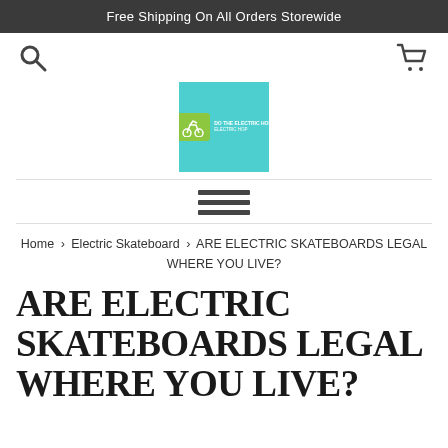Free Shipping On All Orders Storewide
[Figure (logo): Store logo: teal square background with green icon of person on bicycle and white text]
Home › Electric Skateboard › ARE ELECTRIC SKATEBOARDS LEGAL WHERE YOU LIVE?
ARE ELECTRIC SKATEBOARDS LEGAL WHERE YOU LIVE?